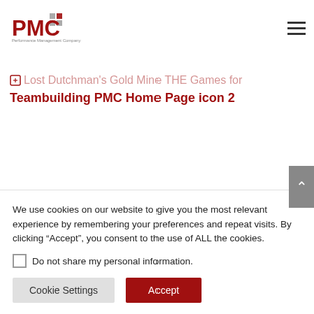PMC Performance Management Company
the situation. PMC offers some simple tools for these processes: team building and organizational improvement.
Lost Dutchman's Gold Mine THE Games for
Teambuilding PMC Home Page icon 2
Annotated Abstracts of some supporting posts
We use cookies on our website to give you the most relevant experience by remembering your preferences and repeat visits. By clicking “Accept”, you consent to the use of ALL the cookies.
Do not share my personal information.
Cookie Settings   Accept